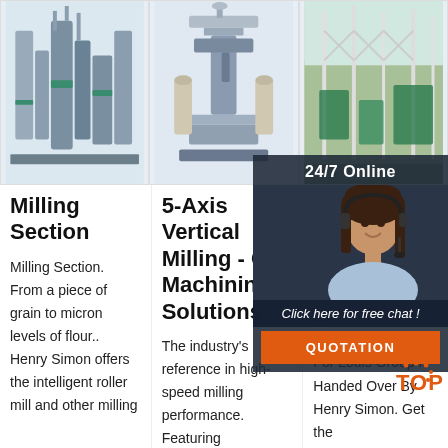[Figure (photo): Industrial milling machinery with multiple units and conveyor systems on light blue background]
[Figure (photo): 5-axis vertical milling machine, white/grey industrial equipment with bags attached]
[Figure (photo): Large industrial milling plant exterior with scaffold structures, green and white machinery]
[Figure (photo): 24/7 Online chat agent - smiling woman with headset overlaid with dark panel, chat button and QUOTATION button]
Milling Section
Milling Section. From a piece of grain to micron levels of flour.. Henry Simon offers the intelligent roller mill and other milling equipment for
5-Axis Vertical Milling - GF Machining Solutions
The industry's reference in high-speed milling performance. Featuring
H S M
20 28 M For Louis Group Is Handed Over By Henry Simon. Get the